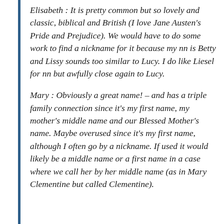Elisabeth : It is pretty common but so lovely and classic, biblical and British (I love Jane Austen's Pride and Prejudice). We would have to do some work to find a nickname for it because my nn is Betty and Lissy sounds too similar to Lucy. I do like Liesel for nn but awfully close again to Lucy.
Mary : Obviously a great name! – and has a triple family connection since it's my first name, my mother's middle name and our Blessed Mother's name. Maybe overused since it's my first name, although I often go by a nickname. If used it would likely be a middle name or a first name in a case where we call her by her middle name (as in Mary Clementine but called Clementine).